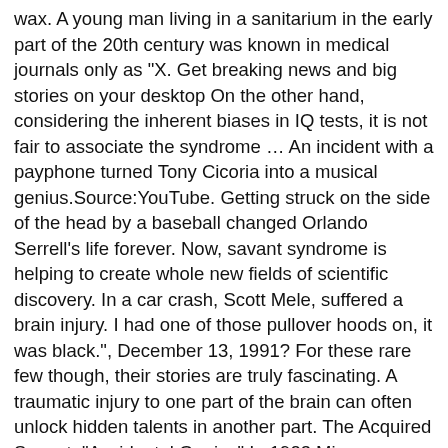wax. A young man living in a sanitarium in the early part of the 20th century was known in medical journals only as "X. Get breaking news and big stories on your desktop On the other hand, considering the inherent biases in IQ tests, it is not fair to associate the syndrome … An incident with a payphone turned Tony Cicoria into a musical genius.Source:YouTube. Getting struck on the side of the head by a baseball changed Orlando Serrell's life forever. Now, savant syndrome is helping to create whole new fields of scientific discovery. In a car crash, Scott Mele, suffered a brain injury. I had one of those pullover hoods on, it was black.", December 13, 1991? For these rare few though, their stories are truly fascinating. A traumatic injury to one part of the brain can often unlock hidden talents in another part. The Acquired Savant: "Accidental Genius" In 1923 Minogue reported a case in which musical genius appeared in a three-year old child following meningitis. There have been documented cases of such a phenomenon called Acquired Savant Syndrome, most of them involved every day people who led normal lives before their incidents. Got a little bonus